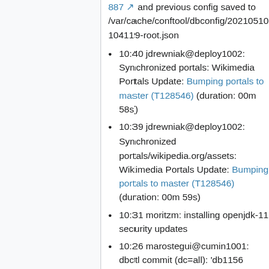887 and previous config saved to /var/cache/conftool/dbconfig/20210510-104119-root.json
10:40 jdrewniak@deploy1002: Synchronized portals: Wikimedia Portals Update: Bumping portals to master (T128546) (duration: 00m 58s)
10:39 jdrewniak@deploy1002: Synchronized portals/wikipedia.org/assets: Wikimedia Portals Update: Bumping portals to master (T128546) (duration: 00m 59s)
10:31 moritzm: installing openjdk-11 security updates
10:26 marostegui@cumin1001: dbctl commit (dc=all): 'db1156 (re)pooling @ 75%: Repool db1156', diff saved to